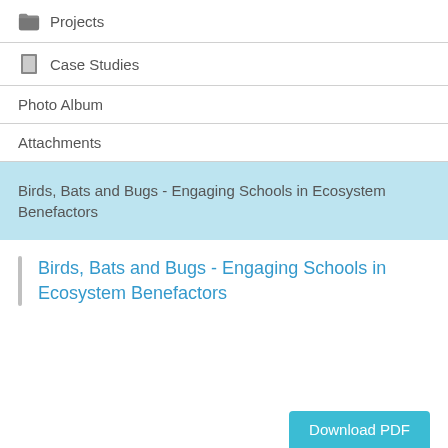Projects
Case Studies
Photo Album
Attachments
Birds, Bats and Bugs - Engaging Schools in Ecosystem Benefactors
Birds, Bats and Bugs - Engaging Schools in Ecosystem Benefactors
Download PDF